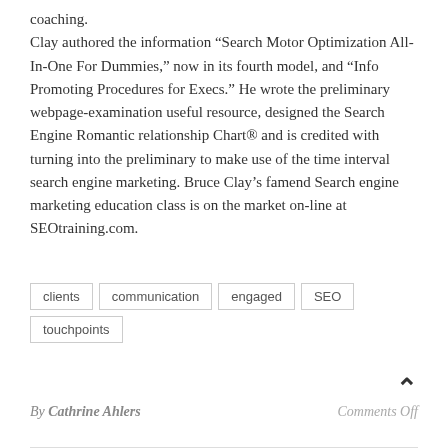coaching. Clay authored the information “Search Motor Optimization All-In-One For Dummies,” now in its fourth model, and “Info Promoting Procedures for Execs.” He wrote the preliminary webpage-examination useful resource, designed the Search Engine Romantic relationship Chart® and is credited with turning into the preliminary to make use of the time interval search engine marketing. Bruce Clay’s famend Search engine marketing education class is on the market on-line at SEOtraining.com.
clients
communication
engaged
SEO
touchpoints
By Cathrine Ahlers
Comments Off